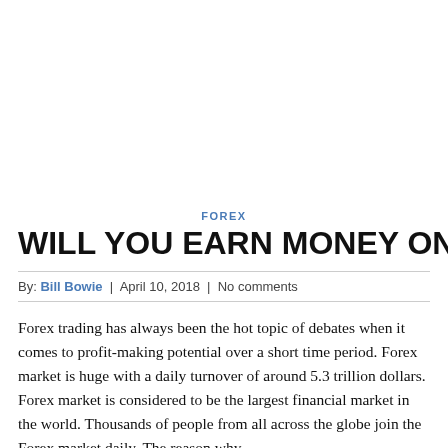FOREX
WILL YOU EARN MONEY ON THE F
By: Bill Bowie  |  April 10, 2018  |  No comments
Forex trading has always been the hot topic of debates when it comes to profit-making potential over a short time period. Forex market is huge with a daily turnover of around 5.3 trillion dollars. Forex market is considered to be the largest financial market in the world. Thousands of people from all across the globe join the Forex market daily. The reason why